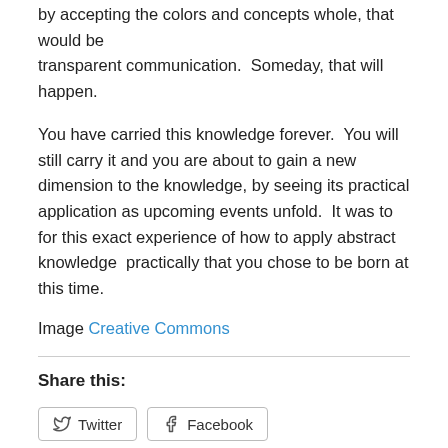by accepting the colors and concepts whole, that would be transparent communication.  Someday, that will happen.
You have carried this knowledge forever.  You will still carry it and you are about to gain a new dimension to the knowledge, by seeing its practical application as upcoming events unfold.  It was to for this exact experience of how to apply abstract knowledge  practically that you chose to be born at this time.
Image Creative Commons
Share this:
Twitter  Facebook
Like
Be the first to like this.